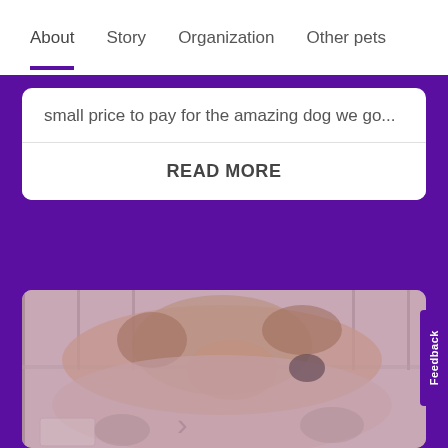About   Story   Organization   Other pets
small price to pay for the amazing dog we go...
READ MORE
[Figure (photo): A close-up photo of a dog resting, viewed from above, inside what appears to be a kennel or shelter with metal bars visible in the background. The image is muted/desaturated with pinkish-grey tones.]